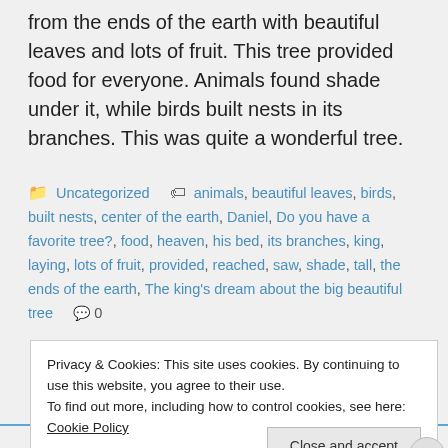from the ends of the earth with beautiful leaves and lots of fruit. This tree provided food for everyone. Animals found shade under it, while birds built nests in its branches. This was quite a wonderful tree.
Uncategorized  animals, beautiful leaves, birds, built nests, center of the earth, Daniel, Do you have a favorite tree?, food, heaven, his bed, its branches, king, laying, lots of fruit, provided, reached, saw, shade, tall, the ends of the earth, The king's dream about the big beautiful tree  0
Privacy & Cookies: This site uses cookies. By continuing to use this website, you agree to their use.
To find out more, including how to control cookies, see here: Cookie Policy
Close and accept
Advertisements